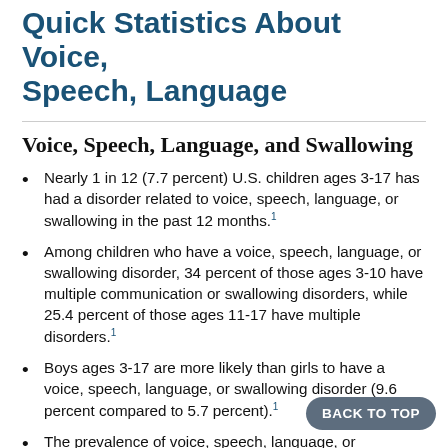Quick Statistics About Voice, Speech, Language
Voice, Speech, Language, and Swallowing
Nearly 1 in 12 (7.7 percent) U.S. children ages 3-17 has had a disorder related to voice, speech, language, or swallowing in the past 12 months.¹
Among children who have a voice, speech, language, or swallowing disorder, 34 percent of those ages 3-10 have multiple communication or swallowing disorders, while 25.4 percent of those ages 11-17 have multiple disorders.¹
Boys ages 3-17 are more likely than girls to have a voice, speech, language, or swallowing disorder (9.6 percent compared to 5.7 percent).¹
The prevalence of voice, speech, language, or